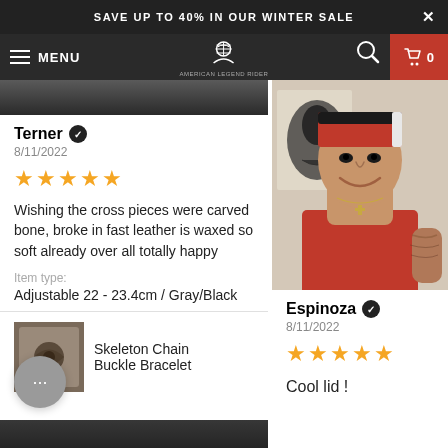SAVE UP TO 40% IN OUR WINTER SALE
[Figure (screenshot): Website navigation bar with hamburger menu, MENU text, American Legend Rider logo, search icon, and cart button showing 0 items]
[Figure (photo): Top partial image strip on left column - dark photo]
Terner ✓
8/11/2022
★★★★★
Wishing the cross pieces were carved bone, broke in fast leather is waxed so soft already over all totally happy
Item type:
Adjustable 22 - 23.4cm / Gray/Black
[Figure (photo): Small product thumbnail of Skeleton Chain Buckle Bracelet]
Skeleton Chain Buckle Bracelet
[Figure (photo): Smiling middle-aged man wearing a red and black bandana and red tank top, with tattoos on his arm and a necklace, standing in front of a painting]
Espinoza ✓
8/11/2022
★★★★★
Cool lid !